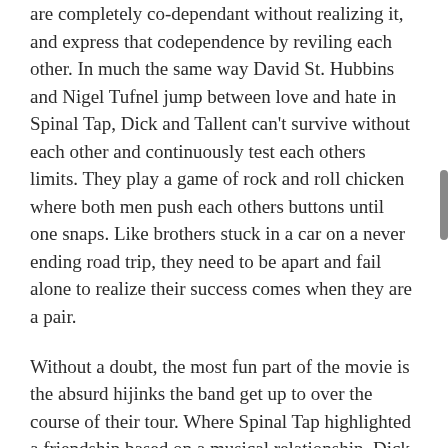are completely co-dependant without realizing it, and express that codependence by reviling each other. In much the same way David St. Hubbins and Nigel Tufnel jump between love and hate in Spinal Tap, Dick and Tallent can't survive without each other and continuously test each others limits. They play a game of rock and roll chicken where both men push each others buttons until one snaps. Like brothers stuck in a car on a never ending road trip, they need to be apart and fail alone to realize their success comes when they are a pair.
Without a doubt, the most fun part of the movie is the absurd hijinks the band get up to over the course of their tour. Where Spinal Tap highlighted a friendship based on a musical relationship, Dick and Tallent appear to have loved the hard core lifestyle first and fell into music. They were punks and assholes to everyone and each other first, and it just so happened that they were musicians and found